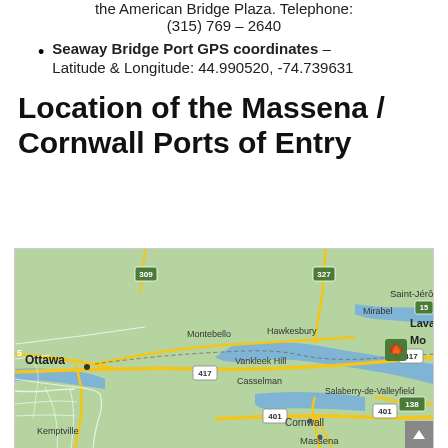the American Bridge Plaza. Telephone: (315) 769 – 2640
Seaway Bridge Port GPS coordinates – Latitude & Longitude: 44.990520, -74.739631
Location of the Massena / Cornwall Ports of Entry
[Figure (map): Google Maps view showing the region around Massena, New York and Cornwall, Ontario, Canada, including Ottawa, Saint-Jérôme, Mirabel, Montebello, Hawkesbury, Vankleek Hill, Casselman, Salaberry-de-Valleyfield, Kemptville, Cornwall, and Massena. Roads 309, 327, 417, 401, 138, 15 visible.]